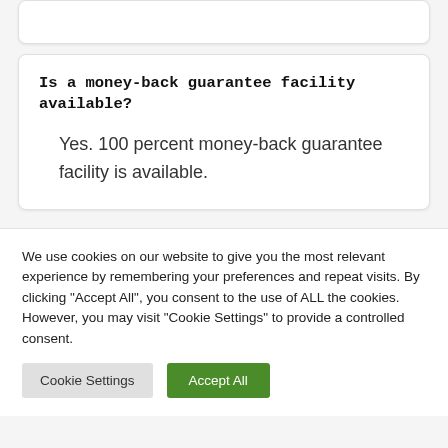Is a money-back guarantee facility available?
Yes. 100 percent money-back guarantee facility is available.
We use cookies on our website to give you the most relevant experience by remembering your preferences and repeat visits. By clicking "Accept All", you consent to the use of ALL the cookies. However, you may visit "Cookie Settings" to provide a controlled consent.